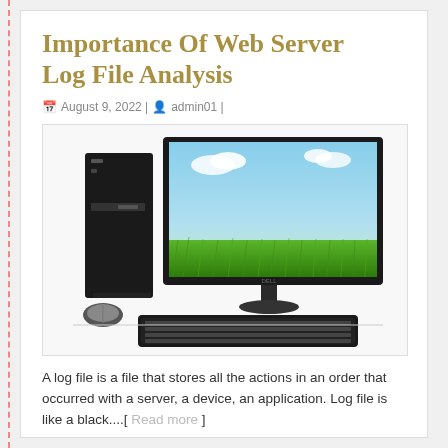Importance Of Web Server Log File Analysis
August 9, 2022 | admin01 |
[Figure (photo): Desktop computer setup with a black PC tower, widescreen monitor displaying a green field and blue sky wallpaper, black keyboard, and mouse on a white surface.]
A log file is a file that stores all the actions in an order that occurred with a server, a device, an application. Log file is like a black....[ Read more ]